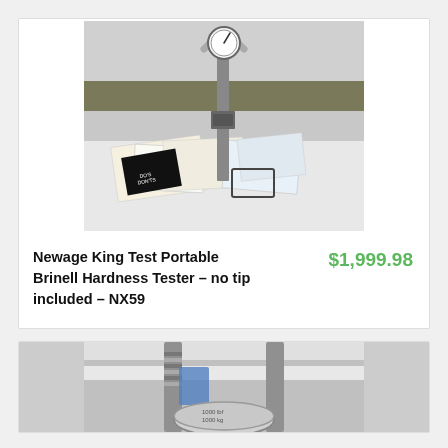[Figure (photo): Photograph of a Newage King Test Portable Brinell Hardness Tester mounted on a stand, with scattered instruction manuals and documentation papers spread beneath it on a white surface.]
Newage King Test Portable Brinell Hardness Tester – no tip included – NX59
$1,999.98
[Figure (photo): Photograph of a second Brinell hardness tester showing a C-clamp style frame with a spring mechanism and circular load indicator disk, partially visible.]